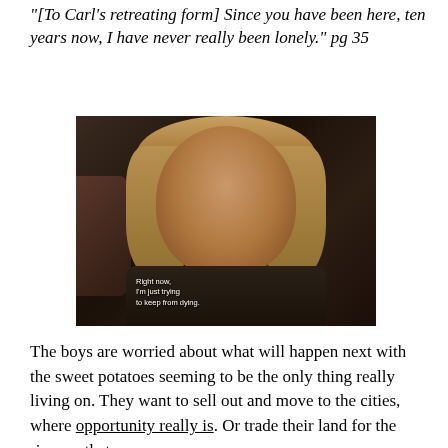"[To Carl's retreating form] Since you have been here, ten years now, I have never really been lonely." pg 35
[Figure (photo): A blonde woman crying or distressed, with subtitle text reading: 'Right now, I'm just trying to keep from dying.' Dark background with another person partially visible on the left.]
The boys are worried about what will happen next with the sweet potatoes seeming to be the only thing really living on. They want to sell out and move to the cities, where opportunity really is. Or trade their land for the river as that